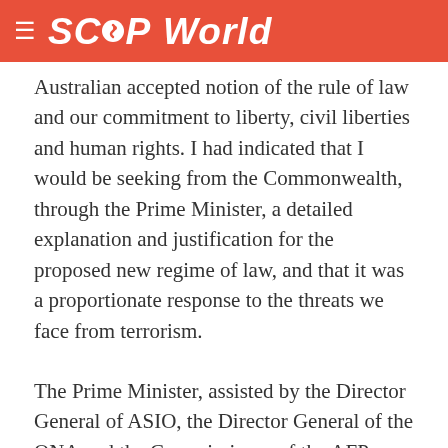SCOOP World
Australian accepted notion of the rule of law and our commitment to liberty, civil liberties and human rights. I had indicated that I would be seeking from the Commonwealth, through the Prime Minister, a detailed explanation and justification for the proposed new regime of law, and that it was a proportionate response to the threats we face from terrorism.
The Prime Minister, assisted by the Director General of ASIO, the Director General of the ONA and the Commissioner of the AFP, provided that detailed security briefing and a detailed update on the issues that they faced, the lessons that have been learned